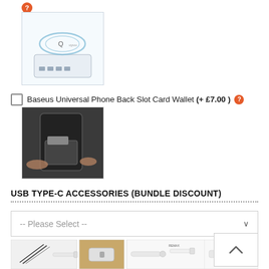[Figure (photo): Red/orange help icon circle with question mark above a wireless charger product image]
Baseus Universal Phone Back Slot Card Wallet (+ £7.00 ) [help icon]
[Figure (photo): Hand holding a phone with a black card wallet attached to the back]
USB TYPE-C ACCESSORIES (BUNDLE DISCOUNT)
[Figure (screenshot): Dropdown selector showing '-- Please Select --']
[Figure (photo): Grid of USB Type-C accessory product images including cables, adapters, and connectors]